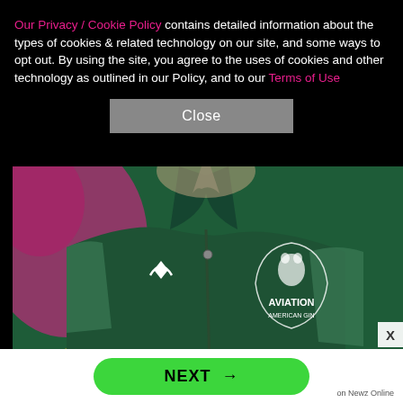Our Privacy / Cookie Policy contains detailed information about the types of cookies & related technology on our site, and some ways to opt out. By using the site, you agree to the uses of cookies and other technology as outlined in our Policy, and to our Terms of Use
[Figure (photo): Close-up photo of a man wearing a dark green zip-up jacket with a Macron logo and an Aviation American Gin logo/crest on it. Blurred pink and yellow background.]
[Figure (screenshot): NEXT button (green rounded rectangle) with arrow, labeled 'on Newz Online']